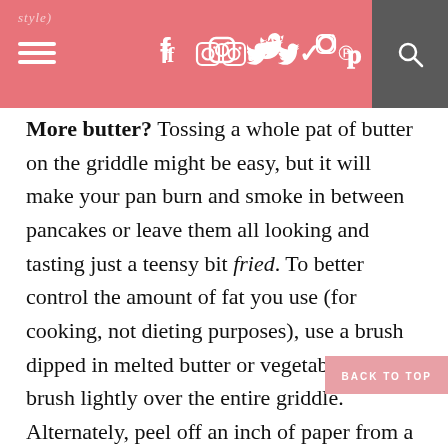style) f [instagram] [twitter] p [search]
More butter? Tossing a whole pat of butter on the griddle might be easy, but it will make your pan burn and smoke in between pancakes or leave them all looking and tasting just a teensy bit fried. To better control the amount of fat you use (for cooking, not dieting purposes), use a brush dipped in melted butter or vegetable oil to brush lightly over the entire griddle. Alternately, peel off an inch of paper from a new (cold) stick of butter and hold by the wrapped end while you glide it directly and quickly over the pan much in the same way you would lip balm on your lips. In betw pancakes, keep this away from the stove to keep